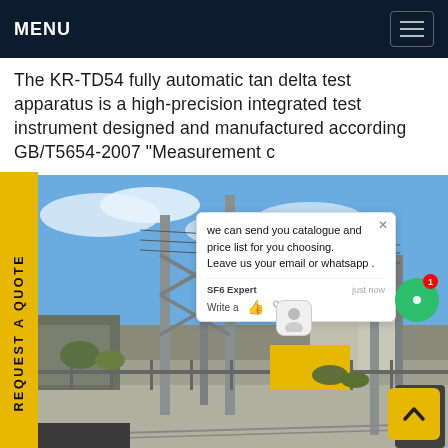MENU
The KR-TD54 fully automatic tan delta test apparatus is a high-precision integrated test instrument designed and manufactured according GB/T5654-2007 "Measurement c...
REQUEST A QUOTE
[Figure (photo): Outdoor electrical substation with large metal transmission tower structures, high voltage equipment, industrial buildings, and open sky with clouds.]
we can send you catalogue and price list for you choosing.
Leave us your email or whatsapp .
SF6 Expert   just now
Write a